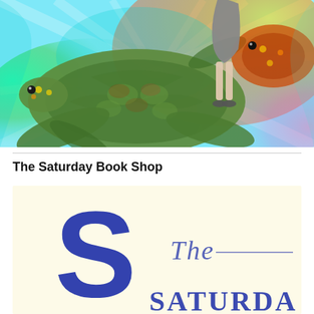[Figure (illustration): Colorful surreal illustration of a sea turtle with vibrant rainbow swirling background (teal, green, orange, yellow, pink), and a woman in a grey dress and heels standing on the turtle's back, viewed from below the waist.]
The Saturday Book Shop
[Figure (logo): Logo for The Saturday Book Shop: cream/off-white background with a large bold dark blue S letterform on the left, and cursive italic text reading 'The' with a horizontal line, and partial text 'SATURDAY' visible at the bottom, in dark blue serif font.]